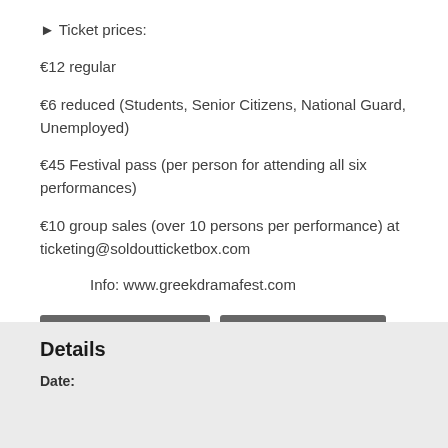▶ Ticket prices:
€12 regular
€6 reduced (Students, Senior Citizens, National Guard, Unemployed)
€45 Festival pass (per person for attending all six performances)
€10 group sales (over 10 persons per performance) at ticketing@soldoutticketbox.com
Info: www.greekdramafest.com
+ GOOGLE CALENDAR   + ADD TO ICALENDAR
Details
Date: